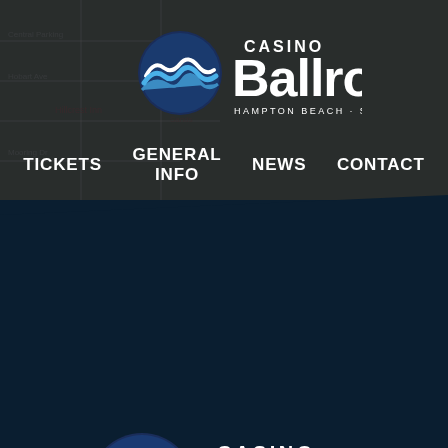[Figure (screenshot): Map background showing street view with Central Parking, Hobart Ave, Hillcrest Inn, Mooring Dr labels visible]
[Figure (logo): Casino Ballroom logo (top) — wave icon with 'CASINO Ballroom HAMPTON BEACH · SINCE 1899' in white]
TICKETS   GENERAL INFO   NEWS   CONTACT
[Figure (logo): Casino Ballroom logo (bottom) — larger wave icon with 'CASINO Ballroom HAMPTON BEACH · SINCE 1899' in white on dark blue background]
SEE IT. HEAR IT. LIVE IT. LIVE
169 Ocean Boulevard
Hampton Beach, NH 03842